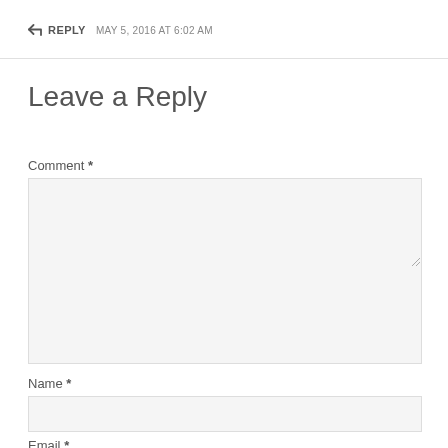↩ REPLY  MAY 5, 2016 AT 6:02 AM
Leave a Reply
Comment *
[Figure (other): Comment textarea input box (empty, light gray background)]
Name *
[Figure (other): Name text input box (empty, light gray background)]
Email *